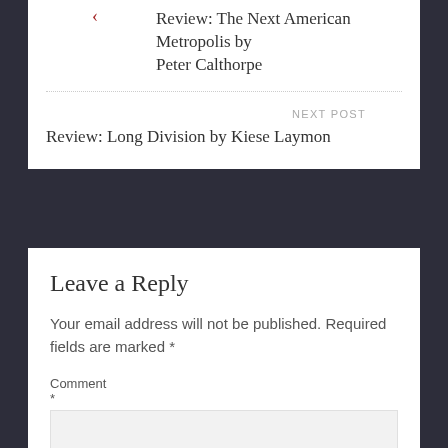Review: The Next American Metropolis by Peter Calthorpe
NEXT POST
Review: Long Division by Kiese Laymon
Leave a Reply
Your email address will not be published. Required fields are marked *
Comment *